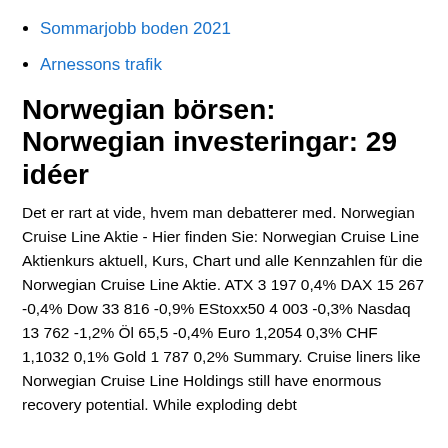Sommarjobb boden 2021
Arnessons trafik
Norwegian börsen: Norwegian investeringar: 29 idéer
Det er rart at vide, hvem man debatterer med. Norwegian Cruise Line Aktie - Hier finden Sie: Norwegian Cruise Line Aktienkurs aktuell, Kurs, Chart und alle Kennzahlen für die Norwegian Cruise Line Aktie. ATX 3 197 0,4% DAX 15 267 -0,4% Dow 33 816 -0,9% EStoxx50 4 003 -0,3% Nasdaq 13 762 -1,2% Öl 65,5 -0,4% Euro 1,2054 0,3% CHF 1,1032 0,1% Gold 1 787 0,2% Summary. Cruise liners like Norwegian Cruise Line Holdings still have enormous recovery potential. While exploding debt